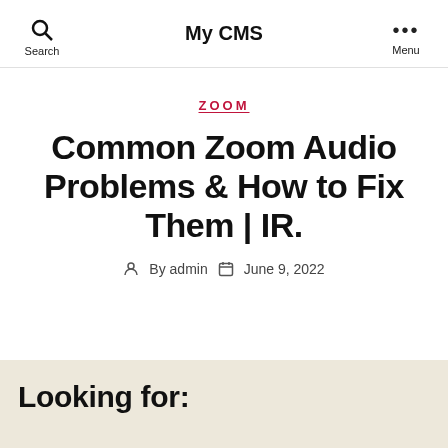My CMS
ZOOM
Common Zoom Audio Problems & How to Fix Them | IR.
By admin  June 9, 2022
Looking for: